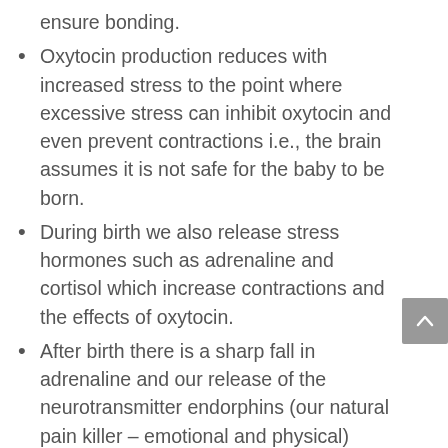ensure bonding.
Oxytocin production reduces with increased stress to the point where excessive stress can inhibit oxytocin and even prevent contractions i.e., the brain assumes it is not safe for the baby to be born.
During birth we also release stress hormones such as adrenaline and cortisol which increase contractions and the effects of oxytocin.
After birth there is a sharp fall in adrenaline and our release of the neurotransmitter endorphins (our natural pain killer – emotional and physical) drops sharply. Within the first 24 hours this is coupled by a dramatic dip in oestrogen and progesterone leading to mood changes often referred to as the ‘baby blues’.